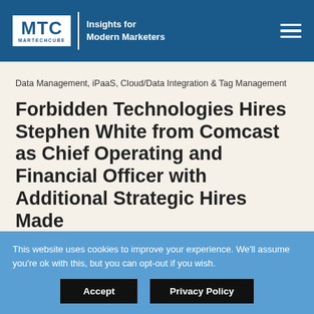MTC MARTECHCUBE | Insights for Modern Marketers
Data Management, iPaaS, Cloud/Data Integration & Tag Management
Forbidden Technologies Hires Stephen White from Comcast as Chief Operating and Financial Officer with Additional Strategic Hires Made
This website uses cookies to improve your experience. We'll assume you're ok with this, but you can opt-out if you wish.